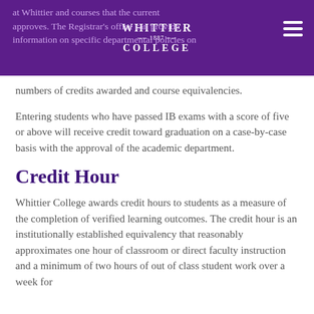Whittier College
numbers of credits awarded and course equivalencies.
Entering students who have passed IB exams with a score of five or above will receive credit toward graduation on a case-by-case basis with the approval of the academic department.
Credit Hour
Whittier College awards credit hours to students as a measure of the completion of verified learning outcomes. The credit hour is an institutionally established equivalency that reasonably approximates one hour of classroom or direct faculty instruction and a minimum of two hours of out of class student work over a week for